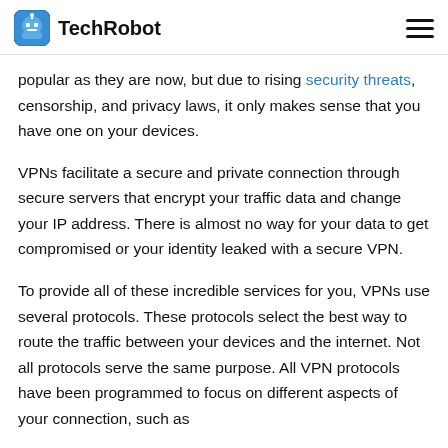TechRobot
popular as they are now, but due to rising security threats, censorship, and privacy laws, it only makes sense that you have one on your devices.
VPNs facilitate a secure and private connection through secure servers that encrypt your traffic data and change your IP address. There is almost no way for your data to get compromised or your identity leaked with a secure VPN.
To provide all of these incredible services for you, VPNs use several protocols. These protocols select the best way to route the traffic between your devices and the internet. Not all protocols serve the same purpose. All VPN protocols have been programmed to focus on different aspects of your connection, such as